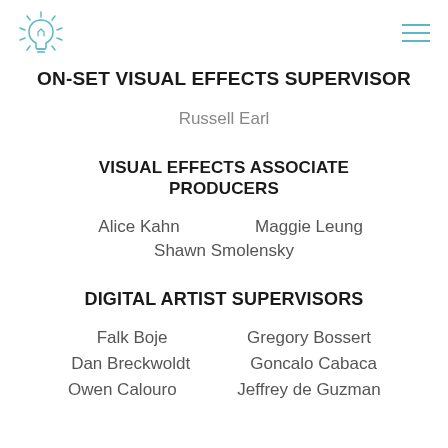[logo and menu icon]
ON-SET VISUAL EFFECTS SUPERVISOR
Russell Earl
VISUAL EFFECTS ASSOCIATE PRODUCERS
Alice Kahn    Maggie Leung
Shawn Smolensky
DIGITAL ARTIST SUPERVISORS
Falk Boje    Gregory Bossert
Dan Breckwoldt    Goncalo Cabaca
Owen Calouro    Jeffrey de Guzman